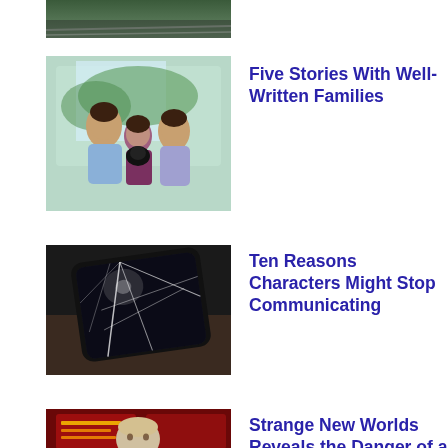[Figure (photo): Top partial image showing a dark greenish nature/outdoor scene, cropped at top of page]
[Figure (illustration): Animated cartoon image showing three animated characters (siblings) holding a black cat, in a colorful animated style]
Five Stories With Well-Written Families
[Figure (photo): Photo of a cracked smartphone screen lying on a dark wooden surface]
Ten Reasons Characters Might Stop Communicating
[Figure (photo): Photo of a man in front of a red sci-fi display, partial image cut off at bottom]
Strange New Worlds Reveals the Danger of a Theme-Breaking